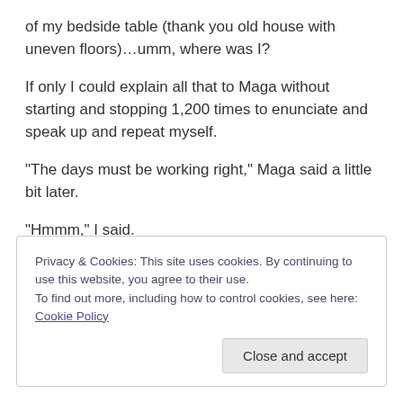of my bedside table (thank you old house with uneven floors)…umm, where was I?
If only I could explain all that to Maga without starting and stopping 1,200 times to enunciate and speak up and repeat myself.
“The days must be working right,” Maga said a little bit later.
“Hmmm,” I said.
Privacy & Cookies: This site uses cookies. By continuing to use this website, you agree to their use.
To find out more, including how to control cookies, see here: Cookie Policy